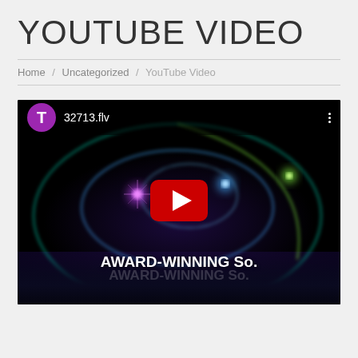YOUTUBE VIDEO
Home / Uncategorized / YouTube Video
[Figure (screenshot): YouTube video thumbnail showing 'AWARD-WINNING So.' text overlay on a dark background with colorful light ring/spiral effects, with a YouTube play button in the center. Top bar shows avatar 'T' and filename '32713.flv'.]